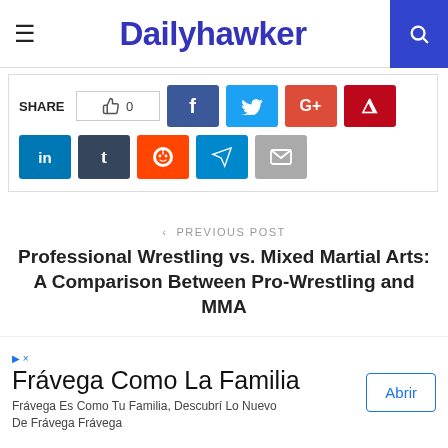Dailyhawker
[Figure (infographic): Social share bar with like count (0), Facebook, Twitter, Google+, Pinterest, LinkedIn, Tumblr, Reddit, Telegram, Email buttons]
< PREVIOUS POST
Professional Wrestling vs. Mixed Martial Arts: A Comparison Between Pro-Wrestling and MMA
NEXT POST >
[Figure (infographic): Advertisement banner: Frávega Como La Familia — Frávega Es Como Tu Familia, Descubrí Lo Nuevo De Frávega Frávega — Abrir button]